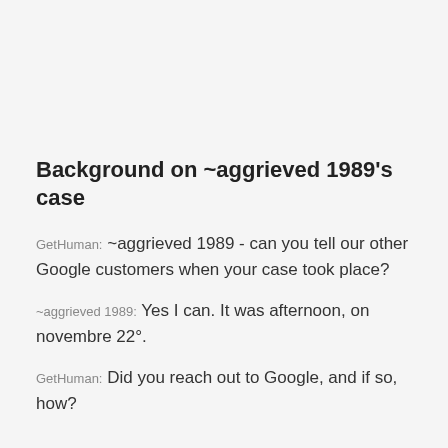Background on ~aggrieved 1989's case
GetHuman: ~aggrieved 1989 - can you tell our other Google customers when your case took place?
~aggrieved 1989: Yes I can. It was afternoon, on novembre 22°.
GetHuman: Did you reach out to Google, and if so, how?